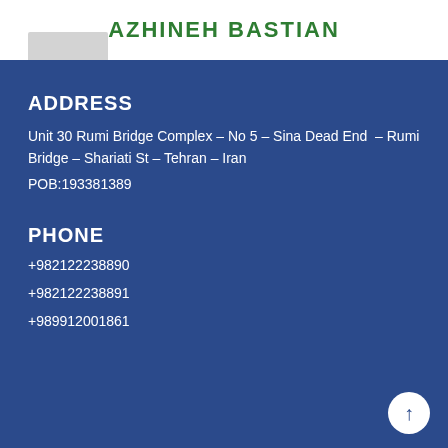AZHINEH BASTIAN
ADDRESS
Unit 30 Rumi Bridge Complex – No 5 – Sina Dead End – Rumi Bridge – Shariati St – Tehran – Iran
POB:193381389
PHONE
+982122238890
+982122238891
+989912001861